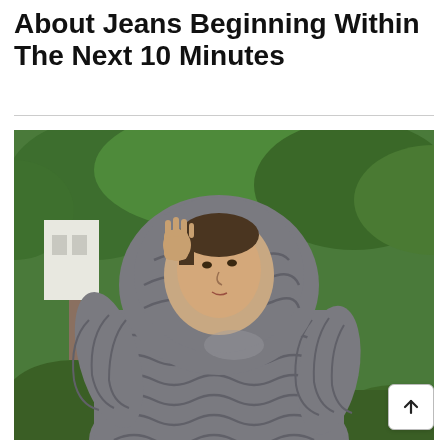About Jeans Beginning Within The Next 10 Minutes
[Figure (photo): A woman wearing a large chunky cable-knit hooded sweater in grey, outdoors with trees in the background. She is pulling up the hood with one hand.]